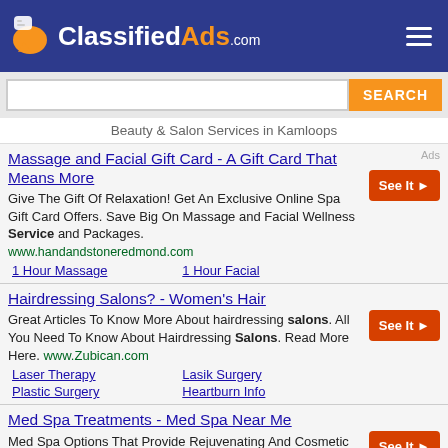ClassifiedAds.com
Beauty & Salon Services in Kamloops
Ads
Massage and Facial Gift Card - A Gift Card That Means More
Give The Gift Of Relaxation! Get An Exclusive Online Spa Gift Card Offers. Save Big On Massage and Facial Wellness Service and Packages.
www.handandstoneredmond.com
1 Hour Massage
1 Hour Facial
Hairdressing Salons? - Women's Hair
Great Articles To Know More About hairdressing salons. All You Need To Know About Hairdressing Salons. Read More Here. www.Zubican.com
Laser Therapy
Lasik Surgery
Plastic Surgery
Heartburn Info
Med Spa Treatments - Med Spa Near Me
Med Spa Options That Provide Rejuvenating And Cosmetic Treatments For Your Body. Discover Factors to Consider When Choosing a Med Spa
www.netshopexpert.com/Treatments/Medspa